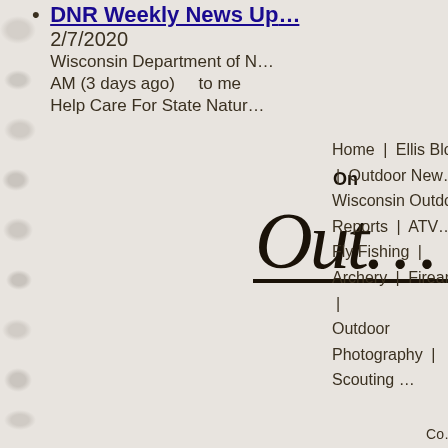DNR Weekly News Up... 2/7/2020 Wisconsin Department of N... AM (3 days ago)    to me Help Care For State Natur...
[Figure (logo): Outdoor website logo with script text 'Outd' in large italic font and 'On' above it]
Home | Ellis Blogs | Outdoor New... | Wisconsin Outdoor Reports | ATV... | Fly Fishing | Archery | Firearms | ... | Outdoor Photography | Scouting ...
Co...